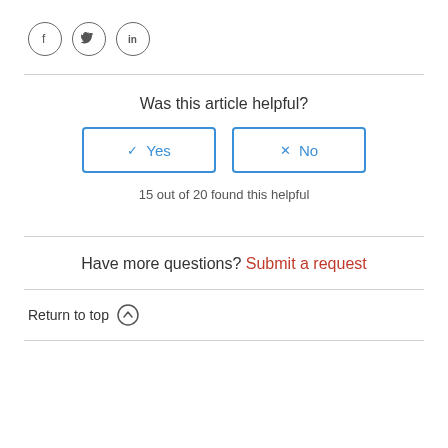[Figure (other): Social sharing icons: Facebook (f), Twitter (bird), LinkedIn (in) as circled icons]
Was this article helpful?
✓ Yes  ✗ No (vote buttons)
15 out of 20 found this helpful
Have more questions? Submit a request
Return to top ↑